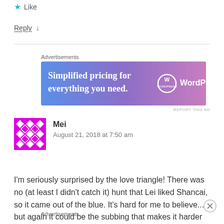★ Like
Reply ↓
[Figure (other): WordPress.com advertisement banner: 'Simplified pricing for everything you need.' with gradient blue-purple background]
REPORT THIS AD
Mei
August 21, 2018 at 7:50 am
I'm seriously surprised by the love triangle! There was no (at least I didn't catch it) hunt that Lei liked Shancai, so it came out of the blue. It's hard for me to believe... but again it could be the subbing that makes it harder for me to get into it. Interesting development though... I'd have to say I totally still
Advertisements